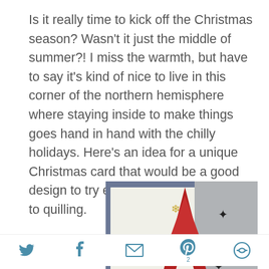Is it really time to kick off the Christmas season? Wasn't it just the middle of summer?! I miss the warmth, but have to say it's kind of nice to live in this corner of the northern hemisphere where staying inside to make things goes hand in hand with the chilly holidays. Here's an idea for a unique Christmas card that would be a good design to try even if you're brand new to quilling.
[Figure (photo): Photo of Christmas cards — a white card with gold snowflake quilling decorations, a red letter A shape in the center, and a grey card with black star decorations on the right, arranged overlapping against a blue-grey background.]
Social sharing icons: Twitter, Facebook, Email, Pinterest (2), share